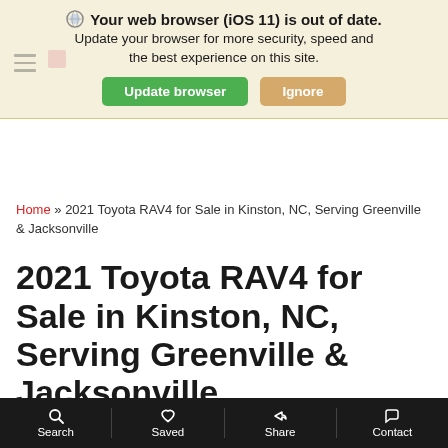Your web browser (iOS 11) is out of date. Update your browser for more security, speed and the best experience on this site.
Update browser | Ignore
Home » 2021 Toyota RAV4 for Sale in Kinston, NC, Serving Greenville & Jacksonville
2021 Toyota RAV4 for Sale in Kinston, NC, Serving Greenville & Jacksonville
Search | Saved | Share | Contact